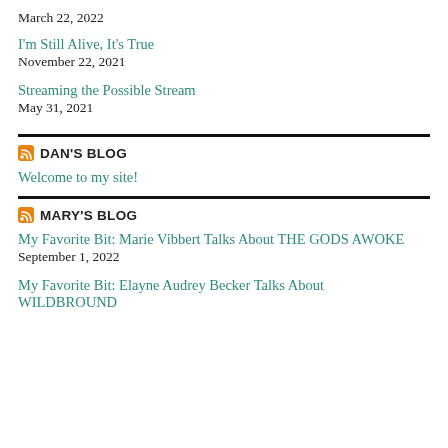March 22, 2022
I'm Still Alive, It's True
November 22, 2021
Streaming the Possible Stream
May 31, 2021
DAN'S BLOG
Welcome to my site!
MARY'S BLOG
My Favorite Bit: Marie Vibbert Talks About THE GODS AWOKE
September 1, 2022
My Favorite Bit: Elayne Audrey Becker Talks About WILDBROUND